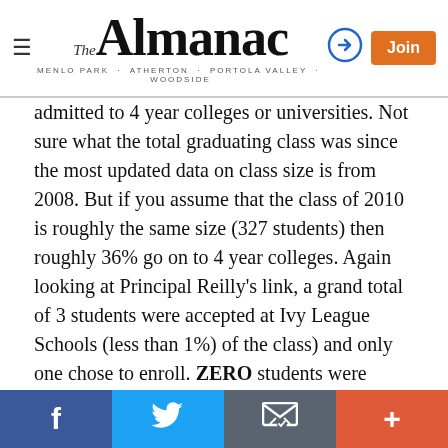The Almanac — MENLO PARK · ATHERTON · PORTOLA VALLEY · WOODSIDE
admitted to 4 year colleges or universities. Not sure what the total graduating class was since the most updated data on class size is from 2008. But if you assume that the class of 2010 is roughly the same size (327 students) then roughly 36% go on to 4 year colleges. Again looking at Principal Reilly's link, a grand total of 3 students were accepted at Ivy League Schools (less than 1%) of the class) and only one chose to enroll. ZERO students were accepted at Stanford.
Compare that to the same statistics for the academically rigorous private HS in our area (the info is readily available on the Menlo, Castilleja and Sacred Heart websites) and you will see that there really is no
Facebook  Twitter  Email  More